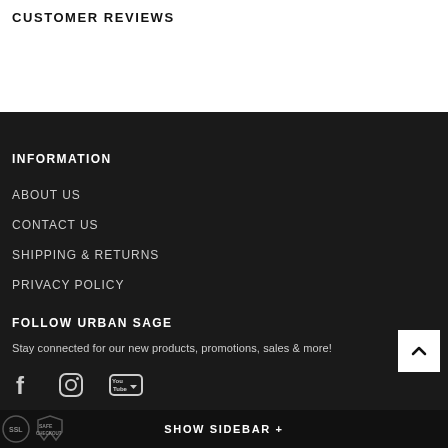CUSTOMER REVIEWS
INFORMATION
ABOUT US
CONTACT US
SHIPPING & RETURNS
PRIVACY POLICY
FOLLOW URBAN SAGE
Stay connected for our new products, promotions, sales & more!
[Figure (other): Social media icons: Facebook, Instagram, YouTube]
SHOW SIDEBAR +